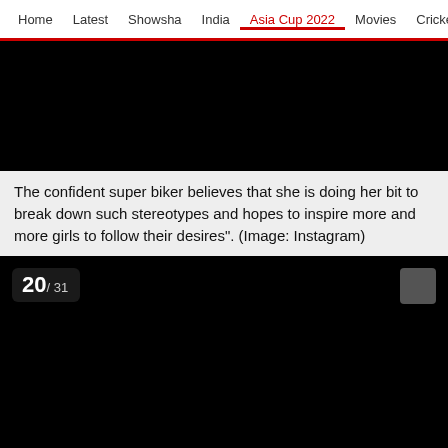Home  Latest  Showsha  India  Asia Cup 2022  Movies  Cricket
[Figure (photo): Dark/black image placeholder at the top of the page]
The confident super biker believes that she is doing her bit to break down such stereotypes and hopes to inspire more and more girls to follow their desires". (Image: Instagram)
[Figure (photo): Dark/black image placeholder showing slide 20 of 31]